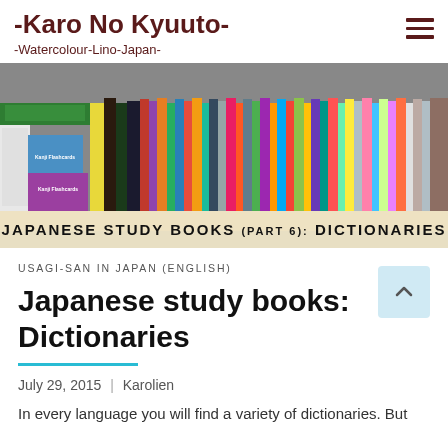-Karo No Kyuuto-
-Watercolour-Lino-Japan-
[Figure (photo): A shelf full of Japanese study books including Kanji Flashcards and various dictionaries, with overlay text reading 'JAPANESE STUDY BOOKS (PART 6): DICTIONARIES']
USAGI-SAN IN JAPAN (ENGLISH)
Japanese study books: Dictionaries
July 29, 2015  |  Karolien
In every language you will find a variety of dictionaries. But